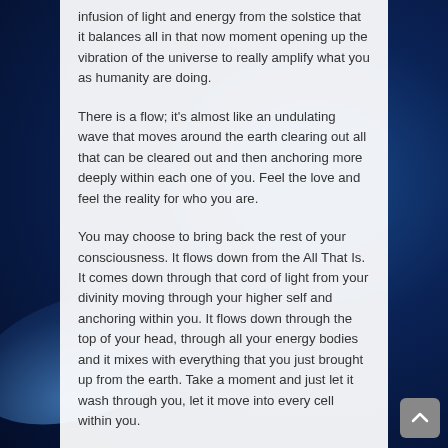infusion of light and energy from the solstice that it balances all in that now moment opening up the vibration of the universe to really amplify what you as humanity are doing.
There is a flow; it's almost like an undulating wave that moves around the earth clearing out all that can be cleared out and then anchoring more deeply within each one of you. Feel the love and feel the reality for who you are.
You may choose to bring back the rest of your consciousness. It flows down from the All That Is. It comes down through that cord of light from your divinity moving through your higher self and anchoring within you. It flows down through the top of your head, through all your energy bodies and it mixes with everything that you just brought up from the earth. Take a moment and just let it wash through you, let it move into every cell within you.